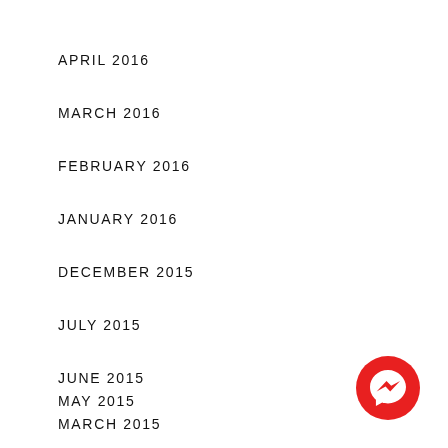APRIL 2016
MARCH 2016
FEBRUARY 2016
JANUARY 2016
DECEMBER 2015
JULY 2015
JUNE 2015
MAY 2015
MARCH 2015
[Figure (logo): Facebook Messenger circular red icon with white lightning bolt chat symbol]